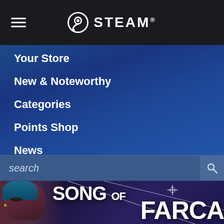STEAM
Your Store
New & Noteworthy
Categories
Points Shop
News
Labs
[Figure (screenshot): Search bar with 'search' placeholder text and magnifying glass icon]
[Figure (illustration): Song of Farca game promotional image showing a female character with blue hair on the left side and the game title text 'SONG OF FARCA' in large white letters, with targeting crosshair lines over the image]